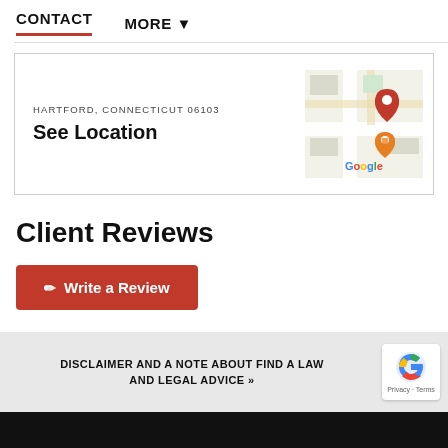CONTACT   MORE ▼
HARTFORD, CONNECTICUT 06103
See Location
[Figure (map): Google Maps thumbnail showing a location pin in Hartford, Connecticut with a restaurant/fork icon and Google logo]
Client Reviews
✏ Write a Review
DISCLAIMER AND A NOTE ABOUT FIND A LAW AND LEGAL ADVICE »